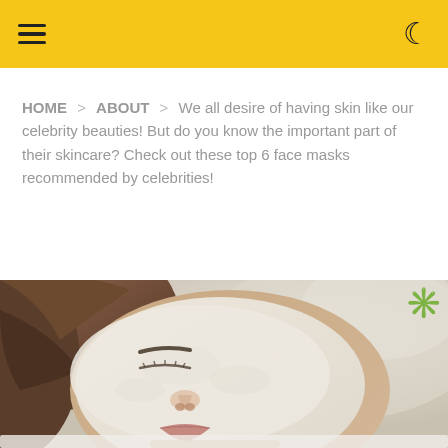≡ [hamburger menu] | [moon/dark mode icon]
HOME > ABOUT > We all desire of having skin like our celebrity beauties! But do you know the important part of their skincare? Check out these top 6 face masks recommended by celebrities!
[Figure (photo): Close-up photo of a woman lying down with a white clay/cream face mask applied, eyes closed, with blurred spa background. A decorative sunburst/asterisk emoji appears in the upper right of the photo area.]